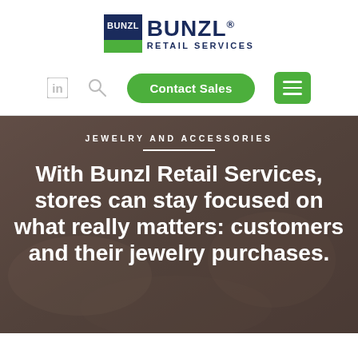[Figure (logo): Bunzl Retail Services logo with blue square icon and blue text reading BUNZL RETAIL SERVICES]
[Figure (screenshot): Navigation bar with LinkedIn icon, search icon, green Contact Sales button, and green hamburger menu button]
JEWELRY AND ACCESSORIES
With Bunzl Retail Services, stores can stay focused on what really matters: customers and their jewelry purchases.
Bunzl Retail Services provides comprehensive and